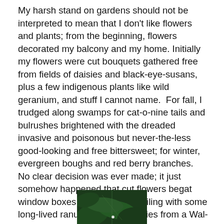My harsh stand on gardens should not be interpreted to mean that I don't like flowers and plants; from the beginning, flowers decorated my balcony and my home. Initially my flowers were cut bouquets gathered free from fields of daisies and black-eye-susans, plus a few indigenous plants like wild geranium, and stuff I cannot name.  For fall, I trudged along swamps for cat-o-nine tails and bulrushes brightened with the dreaded invasive and poisonous but never-the-less good-looking and free bittersweet; for winter, evergreen boughs and red berry branches.  No clear decision was ever made; it just somehow happened that cut flowers begat window boxes clinging to the railing with some long-lived ranunculus and pansies from a Wal-Mart sale purchased because company was coming and the balcony
[Figure (photo): A close-up photo of green plant leaves or foliage, dark green tones, partially visible at the bottom of the page.]